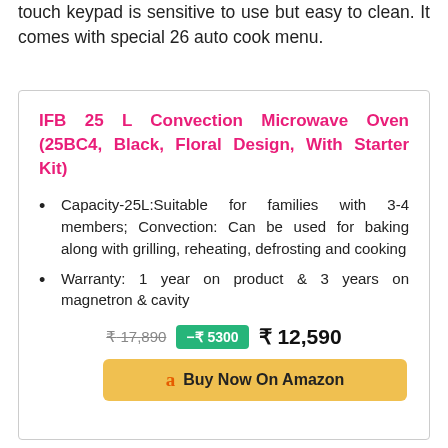touch keypad is sensitive to use but easy to clean. It comes with special 26 auto cook menu.
IFB 25 L Convection Microwave Oven (25BC4, Black, Floral Design, With Starter Kit)
Capacity-25L:Suitable for families with 3-4 members; Convection: Can be used for baking along with grilling, reheating, defrosting and cooking
Warranty: 1 year on product & 3 years on magnetron & cavity
₹17,890  -₹5300  ₹ 12,590
Buy Now On Amazon